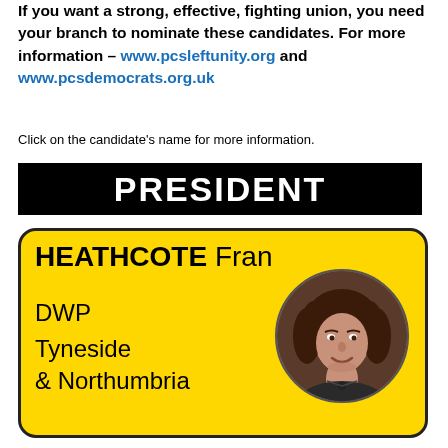If you want a strong, effective, fighting union, you need your branch to nominate these candidates. For more information – www.pcsleftunity.org and www.pcsdemocrats.org.uk
Click on the candidate's name for more information.
PRESIDENT
[Figure (infographic): Candidate card with yellow background showing HEATHCOTE Fran, DWP Tyneside & Northumbria, with a circular portrait photo of a woman with curly brown hair.]